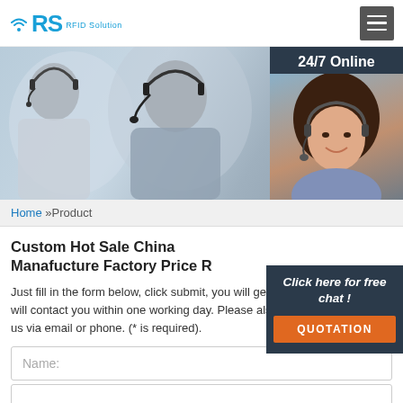[Figure (logo): RS RFID Solution logo with wifi icon, blue text]
[Figure (photo): Hero banner with customer service agents wearing headsets, and a 24/7 Online panel on the right with a female agent photo]
Home »Product
Custom Hot Sale China Manafucture Factory Price R...
[Figure (infographic): Click here for free chat! widget with orange QUOTATION button]
Just fill in the form below, click submit, you will get the price list, and we will contact you within one working day. Please also feel free to contact us via email or phone. (* is required).
Name: